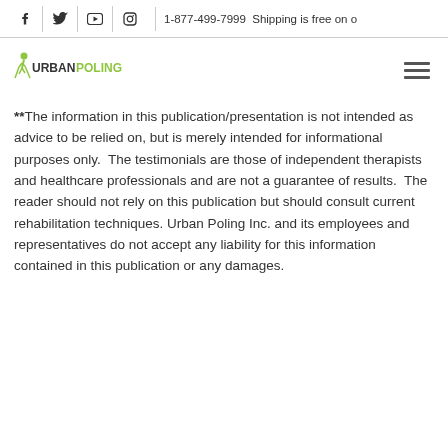1-877-499-7999  Shipping is free on o...
[Figure (logo): Urban Poling logo with stylized figure and text 'URBANPOLING']
**The information in this publication/presentation is not intended as advice to be relied on, but is merely intended for informational purposes only.  The testimonials are those of independent therapists and healthcare professionals and are not a guarantee of results.  The reader should not rely on this publication but should consult current rehabilitation techniques. Urban Poling Inc. and its employees and representatives do not accept any liability for this information contained in this publication or any damages.